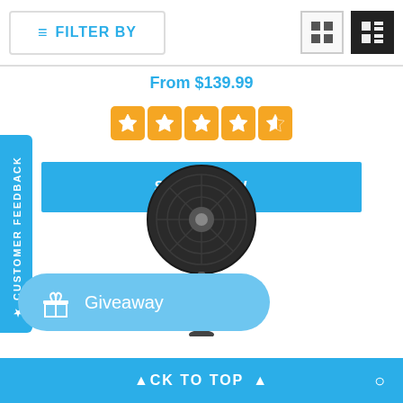FILTER BY
From $139.99
[Figure (other): 5-star rating displayed as orange filled star icons]
SHOP NOW
[Figure (photo): Black pedestal fan product image]
CUSTOMER FEEDBACK
Giveaway
ACK TO TOP